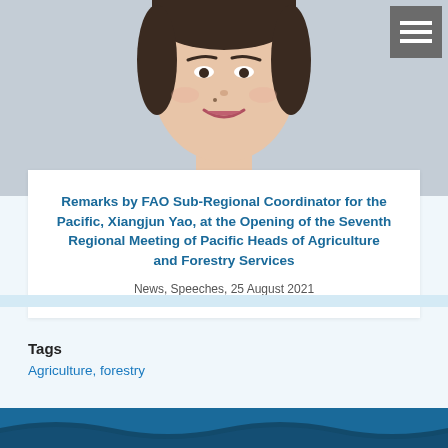[Figure (photo): Portrait photo of Xiangjun Yao, showing her from shoulders up, smiling, wearing a gray blazer and amber bead necklace, against a light gray background.]
Remarks by FAO Sub-Regional Coordinator for the Pacific, Xiangjun Yao, at the Opening of the Seventh Regional Meeting of Pacific Heads of Agriculture and Forestry Services
News, Speeches, 25 August 2021
Tags
Agriculture, forestry